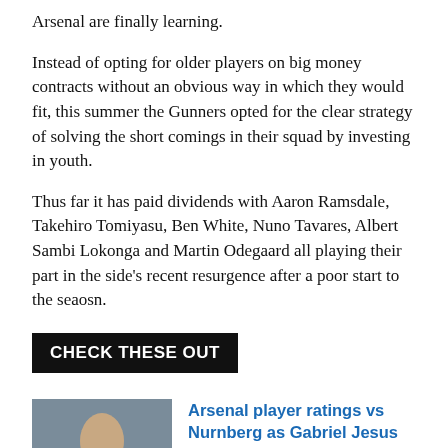Arsenal are finally learning.
Instead of opting for older players on big money contracts without an obvious way in which they would fit, this summer the Gunners opted for the clear strategy of solving the short comings in their squad by investing in youth.
Thus far it has paid dividends with Aaron Ramsdale, Takehiro Tomiyasu, Ben White, Nuno Tavares, Albert Sambi Lokonga and Martin Odegaard all playing their part in the side's recent resurgence after a poor start to the seaosn.
CHECK THESE OUT
[Figure (photo): Arsenal player in red kit at a football match]
Arsenal player ratings vs Nurnberg as Gabriel Jesus stars, Elneny and Martinelli impress
July 8, 2022